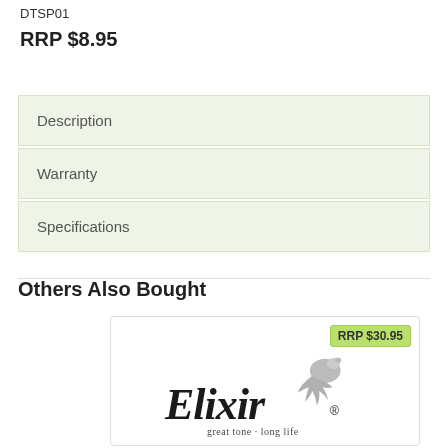DTSP01
RRP $8.95
Description
Warranty
Specifications
Others Also Bought
[Figure (logo): Elixir brand logo with tagline 'great tone · long life' and RRP badge showing $30.95]